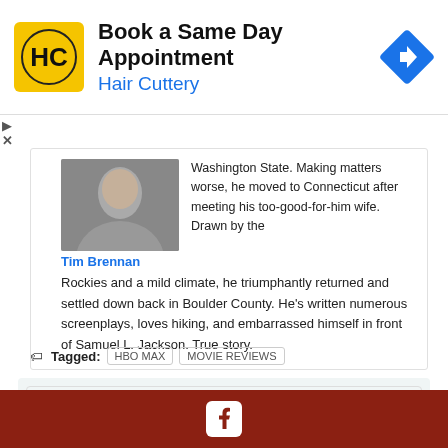[Figure (infographic): Hair Cuttery advertisement banner: logo (HC in yellow circle), 'Book a Same Day Appointment' title, 'Hair Cuttery' subtitle in blue, blue diamond arrow icon on right]
Washington State. Making matters worse, he moved to Connecticut after meeting his too-good-for-him wife. Drawn by the Rockies and a mild climate, he triumphantly returned and settled down back in Boulder County. He's written numerous screenplays, loves hiking, and embarrassed himself in front of Samuel L. Jackson. True story.
Tim Brennan
Tagged: HBO MAX   MOVIE REVIEWS
Help Me Find...
Facebook icon